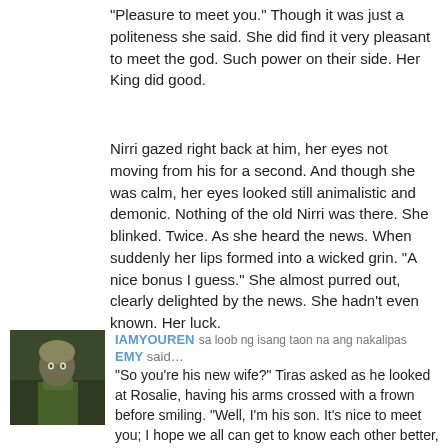"Pleasure to meet you." Though it was just a politeness she said. She did find it very pleasant to meet the god. Such power on their side. Her King did good.
Nirri gazed right back at him, her eyes not moving from his for a second. And though she was calm, her eyes looked still animalistic and demonic. Nothing of the old Nirri was there. She blinked. Twice. As she heard the news. When suddenly her lips formed into a wicked grin. "A nice bonus I guess." She almost purred out, clearly delighted by the news. She hadn't even known. Her luck.
[Figure (photo): Small avatar image of a fantasy character with dark armor and greenish tones]
IAMYOUREN sa loob ng isang taon na ang nakalipas
EMY said…
"So you're his new wife?" Tiras asked as he looked at Rosalie, having his arms crossed with a frown before smiling. "Well, I'm his son. It's nice to meet you; I hope we all can get to know each other better, I have a lot of lost time to make up with my dad for sure." Tiras said genuinely while Faendal awkwardly kinda hid behind